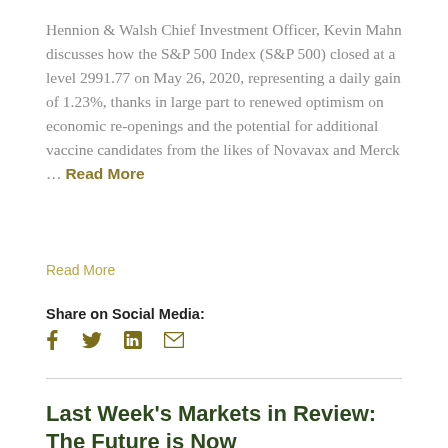Hennion & Walsh Chief Investment Officer, Kevin Mahn discusses how the S&P 500 Index (S&P 500) closed at a level 2991.77 on May 26, 2020, representing a daily gain of 1.23%, thanks in large part to renewed optimism on economic re-openings and the potential for additional vaccine candidates from the likes of Novavax and Merck … Read More
Read More
Share on Social Media:
Last Week's Markets in Review: The Future is Now